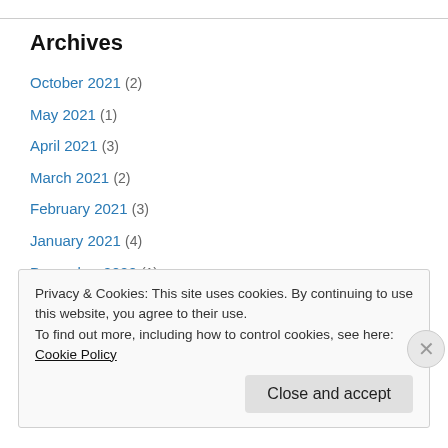Archives
October 2021 (2)
May 2021 (1)
April 2021 (3)
March 2021 (2)
February 2021 (3)
January 2021 (4)
December 2020 (1)
November 2020 (5)
October 2020 (3)
September 2020 (3)
Privacy & Cookies: This site uses cookies. By continuing to use this website, you agree to their use. To find out more, including how to control cookies, see here: Cookie Policy